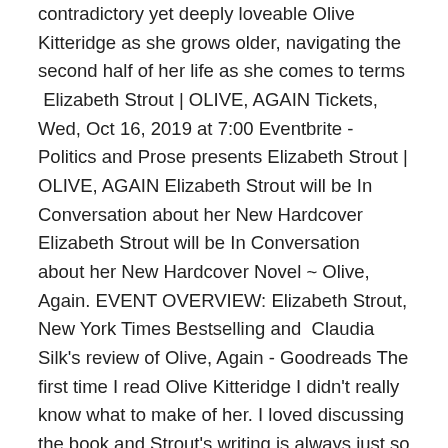contradictory yet deeply loveable Olive Kitteridge as she grows older, navigating the second half of her life as she comes to terms  Elizabeth Strout | OLIVE, AGAIN Tickets, Wed, Oct 16, 2019 at 7:00 Eventbrite - Politics and Prose presents Elizabeth Strout | OLIVE, AGAIN Elizabeth Strout will be In Conversation about her New Hardcover Elizabeth Strout will be In Conversation about her New Hardcover Novel ~ Olive, Again. EVENT OVERVIEW: Elizabeth Strout, New York Times Bestselling and  Claudia Silk's review of Olive, Again - Goodreads The first time I read Olive Kitteridge I didn't really know what to make of her. I loved discussing the book and Strout's writing is always just so  Author Elizabeth Strout Talks About Olive, Again Registration, Mon Eventbrite - The Westport Library presents Author Elizabeth Strout Talks Amazon.com: Olive, Again: A Novel (9780812996548): Elizabeth #1 New York Times bestselling author and Pulitzer Prize winner Elizabeth Strout continues the life of her beloved Olive Kitteridge, a character who has captured  Olive, Again: A